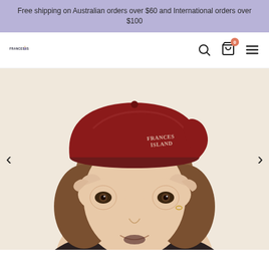Free shipping on Australian orders over $60 and International orders over $100
[Figure (logo): Frances Island brand logo with illustrated mermaid/figure between the words FRANCES and ISLAND]
[Figure (photo): A woman wearing a dark red/burgundy wool beret with 'FRANCES ISLAND' text embroidered on it. She is holding her hands up to her eyes in binocular gesture, with a warm beige/cream background.]